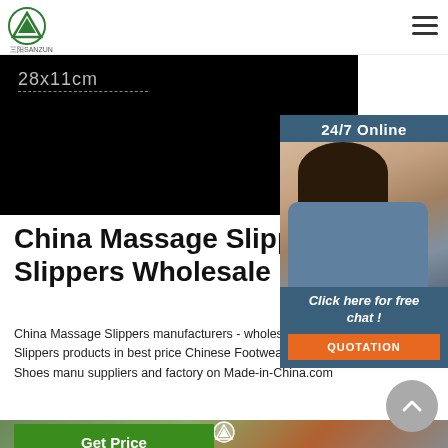[Figure (logo): Sanzun green triangle logo with Chinese text]
[Figure (photo): Black banner area with text 28x11cm and dashed underline]
[Figure (photo): 24/7 Online chat widget with woman wearing headset, Click here for free chat button, and QUOTATION orange button]
China Massage Slippers, Ma Slippers Wholesale ...
China Massage Slippers manufacturers - wholes quality Massage Slippers products in best price Chinese Footwear wholesalers, Eva Shoes manu suppliers and factory on Made-in-China.com
[Figure (other): Green Get Price button]
[Figure (other): Grey scroll-to-top circle button with upward chevron]
[Figure (photo): Bottom blurred nature/outdoor image with Sanzun logo]